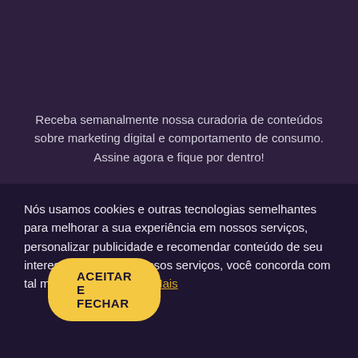[Figure (illustration): Dark purple background with a thin curved pink/magenta arc line forming a large circle shape in the upper portion of the image]
Receba semanalmente nossa curadoria de conteúdos sobre marketing digital e comportamento de consumo. Assine agora e fique por dentro!
Nós usamos cookies e outras tecnologias semelhantes para melhorar a sua experiência em nossos serviços, personalizar publicidade e recomendar conteúdo de seu interesse. Ao utilizar nossos serviços, você concorda com tal monitoramento. Leia Mais
ACEITAR E FECHAR